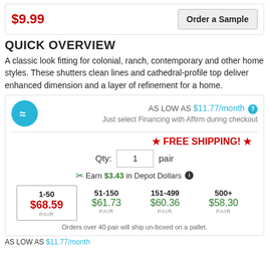$9.99
Order a Sample
QUICK OVERVIEW
A classic look fitting for colonial, ranch, contemporary and other home styles. These shutters clean lines and cathedral-profile top deliver enhanced dimension and a layer of refinement for a home.
AS LOW AS $11.77/month  Just select Financing with Affirm during checkout
★ FREE SHIPPING! ★
Qty: 1 pair
Earn $3.43 in Depot Dollars
| 1-50 | 51-150 | 151-499 | 500+ |
| --- | --- | --- | --- |
| $68.59 PAIR | $61.73 PAIR | $60.36 PAIR | $58.30 PAIR |
Orders over 40 pair will ship un-boxed on a pallet.
AS LOW AS $11.77/month